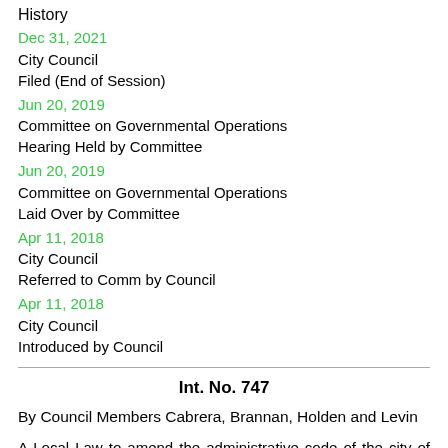History
Dec 31, 2021
City Council
Filed (End of Session)
Jun 20, 2019
Committee on Governmental Operations
Hearing Held by Committee
Jun 20, 2019
Committee on Governmental Operations
Laid Over by Committee
Apr 11, 2018
City Council
Referred to Comm by Council
Apr 11, 2018
City Council
Introduced by Council
Int. No. 747
By Council Members Cabrera, Brannan, Holden and Levin
A Local Law to amend the administrative code of the city of New York, in relation to prohibiting the distribution of public matching funds to candidates previously convicted of certain